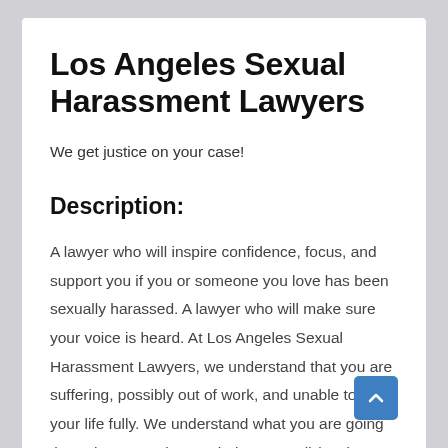Los Angeles Sexual Harassment Lawyers
We get justice on your case!
Description:
A lawyer who will inspire confidence, focus, and support you if you or someone you love has been sexually harassed. A lawyer who will make sure your voice is heard. At Los Angeles Sexual Harassment Lawyers, we understand that you are suffering, possibly out of work, and unable to enjoy your life fully. We understand what you are going through. We are here to help you. Call (888) 310-2470 to book a free, no-risk consultation with an experienced lawyer who